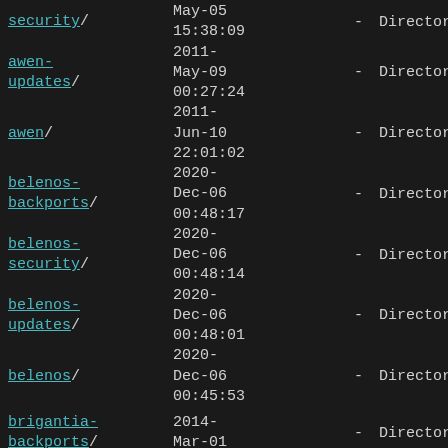security/ | May-05 15:38:09 | - | Directory
awen-updates/ | 2011-May-09 00:27:24 | - | Directory
awen/ | 2011-Jun-10 22:01:02 | - | Directory
belenos-backports/ | 2020-Dec-06 00:48:17 | - | Directory
belenos-security/ | 2020-Dec-06 00:48:14 | - | Directory
belenos-updates/ | 2020-Dec-06 00:48:01 | - | Directory
belenos/ | 2020-Dec-06 00:45:53 | - | Directory
brigantia-backports/ | 2014-Mar-01 | - | Directory